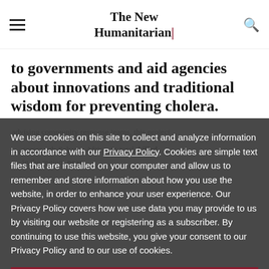The New Humanitarian
to governments and aid agencies about innovations and traditional wisdom for preventing cholera.
We use cookies on this site to collect and analyze information in accordance with our Privacy Policy. Cookies are simple text files that are installed on your computer and allow us to remember and store information about how you use the website, in order to enhance your user experience. Our Privacy Policy covers how we use data you may provide to us by visiting our website or registering as a subscriber. By continuing to use this website, you give your consent to our Privacy Policy and to our use of cookies.
OK, I agree
Elsewhere in West Africa case numbers are rising, but are lower
Chad Basin, which includes parts of Chad, Niger, Nigeria and Cameroon, were infected.